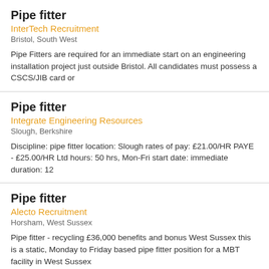Pipe fitter
InterTech Recruitment
Bristol, South West
Pipe Fitters are required for an immediate start on an engineering installation project just outside Bristol. All candidates must possess a CSCS/JIB card or
Pipe fitter
Integrate Engineering Resources
Slough, Berkshire
Discipline: pipe fitter location: Slough rates of pay: £21.00/HR PAYE - £25.00/HR Ltd hours: 50 hrs, Mon-Fri start date: immediate duration: 12
Pipe fitter
Alecto Recruitment
Horsham, West Sussex
Pipe fitter - recycling £36,000 benefits and bonus West Sussex this is a static, Monday to Friday based pipe fitter position for a MBT facility in West Sussex
Pipe fitter
Integrate Engineering Resources
North East, England